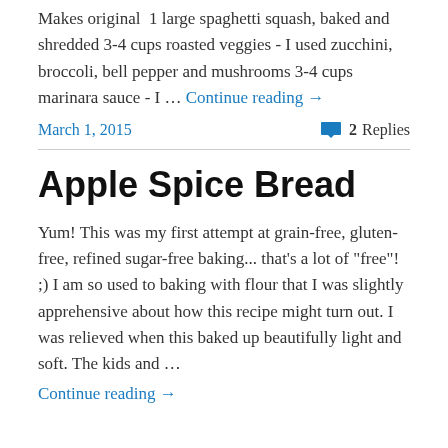Makes original  1 large spaghetti squash, baked and shredded 3-4 cups roasted veggies - I used zucchini, broccoli, bell pepper and mushrooms 3-4 cups marinara sauce - I … Continue reading →
March 1, 2015
2 Replies
Apple Spice Bread
Yum! This was my first attempt at grain-free, gluten-free, refined sugar-free baking... that's a lot of "free"! ;) I am so used to baking with flour that I was slightly apprehensive about how this recipe might turn out. I was relieved when this baked up beautifully light and soft. The kids and … Continue reading →